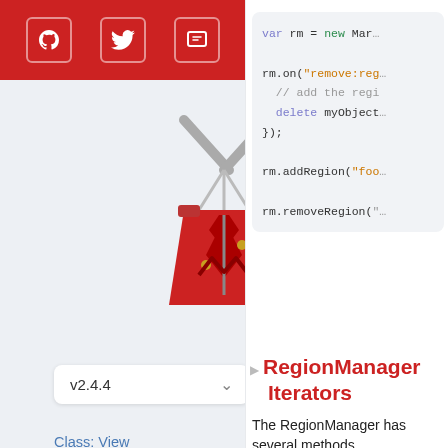[Figure (screenshot): Red navigation bar with GitHub, Twitter, and Gitter icon buttons in white rounded boxes]
[Figure (logo): Marionette.js puppet logo — red jacket with grey crossed sticks above]
v2.4.4
Class: View
Class: CollectionView
Class: Region
Class: Application
Class: Behavior
Class: AppRouter
[Figure (screenshot): Code snippet showing: var rm = new Mar..., rm.on("remove:reg..., // add the regi, delete myObject, });, rm.addRegion("foo..., rm.removeRegion("...]
RegionManager Iterators
The RegionManager has several methods